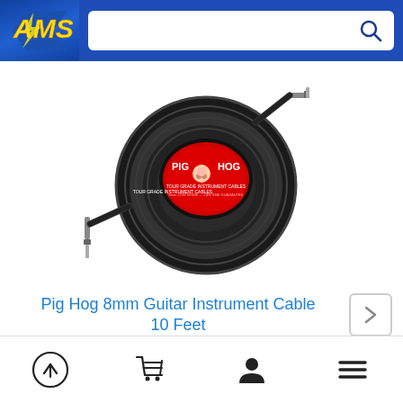AMS logo and search bar
[Figure (photo): Pig Hog 8mm guitar instrument cable coiled, with straight and right-angle 1/4 inch connectors, showing the Pig Hog brand logo in red on the package]
Pig Hog 8mm Guitar Instrument Cable 10 Feet
MSRP: $39.95 Save: $17.00 (43%)
$22.95
Add To Cart
Navigation icons: scroll to top, cart, account, menu